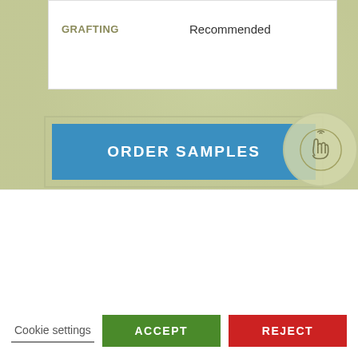| GRAFTING | Recommended |
| --- | --- |
[Figure (illustration): Blue ORDER SAMPLES button with touch/hand icon in circular badge]
[Figure (illustration): Olive green DATA SHEET button with document icon in circular badge]
We use cookies to make this website work better for you and to track site visits anonymously. You can opt out if you like.
Cookie settings  ACCEPT  REJECT